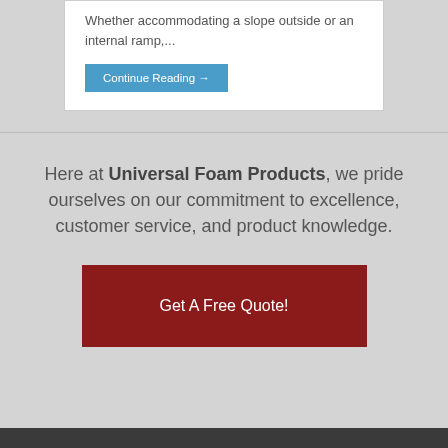Whether accommodating a slope outside or an internal ramp,...
Continue Reading →
Here at Universal Foam Products, we pride ourselves on our commitment to excellence, customer service, and product knowledge.
Get A Free Quote!